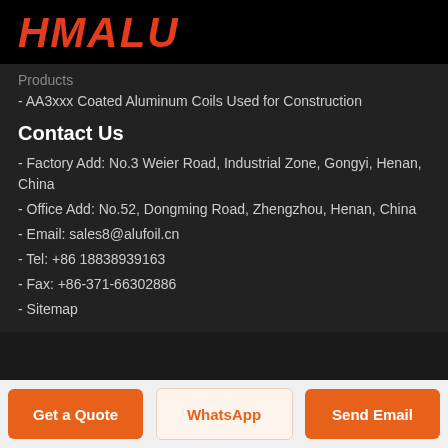[Figure (logo): HMALU logo in red bold italic text on black background]
Products
- AA3xxx Coated Aluminum Coils Used for Construction
Contact Us
- Factory Add: No.3 Weier Road, Industrial Zone, Gongyi, Henan, China
- Office Add: No.52, Dongming Road, Zhengzhou, Henan, China
- Email: sales8@alufoil.cn
- Tel: +86 18838939163
- Fax: +86-371-66302886
- Sitemap
Get a Quote | WhatsApp | Send Email